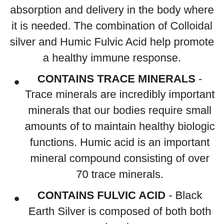absorption and delivery in the body where it is needed. The combination of Colloidal silver and Humic Fulvic Acid help promote a healthy immune response.
CONTAINS TRACE MINERALS - Trace minerals are incredibly important minerals that our bodies require small amounts of to maintain healthy biologic functions. Humic acid is an important mineral compound consisting of over 70 trace minerals.
CONTAINS FULVIC ACID - Black Earth Silver is composed of both both humic